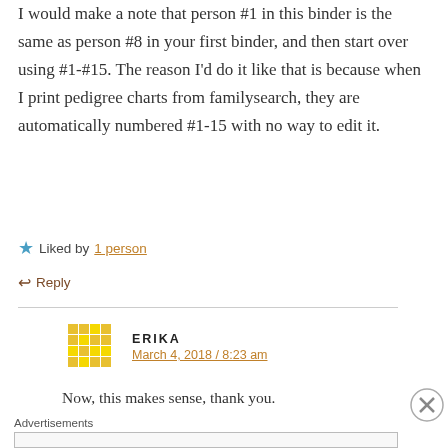I would make a note that person #1 in this binder is the same as person #8 in your first binder, and then start over using #1-#15. The reason I'd do it like that is because when I print pedigree charts from familysearch, they are automatically numbered #1-15 with no way to edit it.
★ Liked by 1 person
↩ Reply
ERIKA
March 4, 2018 / 8:23 am
Now, this makes sense, thank you.
Advertisements